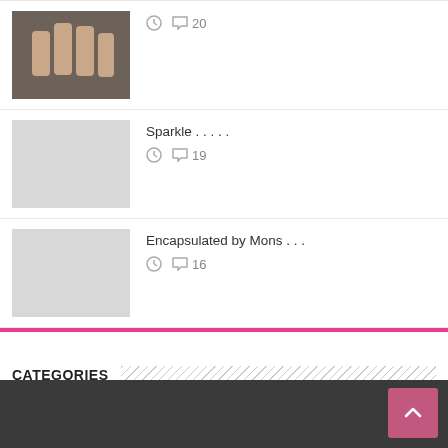[Figure (photo): Thumbnail photo of hands/nails on dark background]
20
Sparkle . . . . .
19
[Figure (photo): Gray placeholder thumbnail]
Encapsulated by Mons . . .
16
[Figure (photo): Gray placeholder thumbnail]
CATEGORIES
Nail Designs